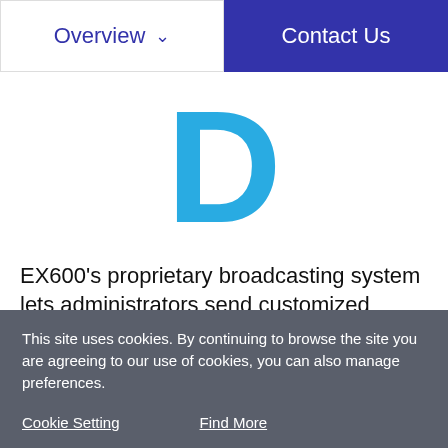Overview   Contact Us
[Figure (logo): Large cyan letter D logo mark]
EX600's proprietary broadcasting system lets administrators send customized messages, such as a polite notification that meeting time is almost up, to facilitate smooth transitions between meetings.
This site uses cookies. By continuing to browse the site you are agreeing to our use of cookies, you can also manage preferences.
I understand
Cookie Setting   Find More